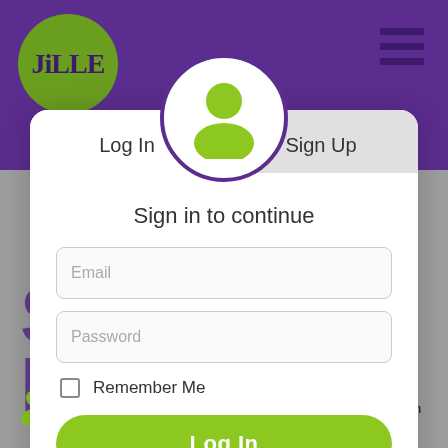[Figure (screenshot): Jille website navbar with green logo circle containing 'JillE' text in purple, purple navigation bar, and hamburger menu icon in top right]
[Figure (screenshot): User account avatar icon — green silhouette of a person inside a white circle with purple border, centered at the top of the login modal]
Log In
Sign Up
Sign in to continue
Email
Password
Remember Me
Log In
forgot password? | exit
A login is required to access some of the content below. Sign up or lo in now.